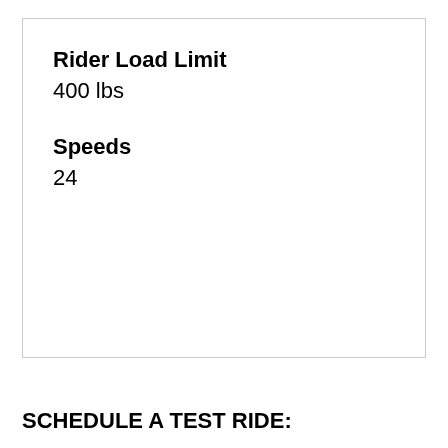Rider Load Limit
400 lbs
Speeds
24
SCHEDULE A TEST RIDE: